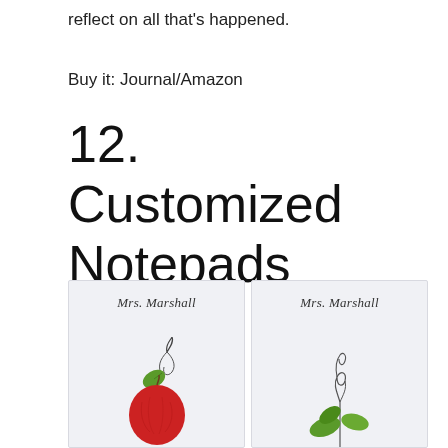reflect on all that's happened.
Buy it: Journal/Amazon
12. Customized Notepads
[Figure (photo): Two customized notepads labeled 'Mrs. Marshall' with illustrated apple and plant designs on a light blue-gray background.]